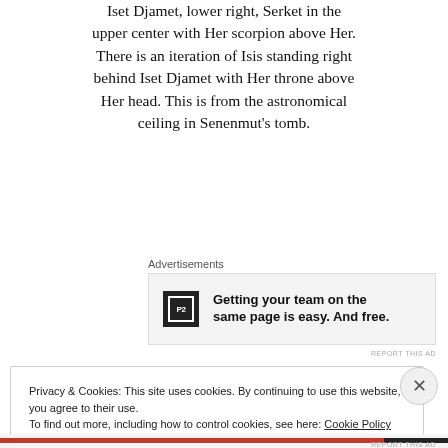Iset Djamet, lower right, Serket in the upper center with Her scorpion above Her. There is an iteration of Isis standing right behind Iset Djamet with Her throne above Her head. This is from the astronomical ceiling in Senenmut's tomb.
Advertisements
[Figure (other): Advertisement for P2 product: logo with 'P2' text on dark background, with bold text 'Getting your team on the same page is easy. And free.']
Privacy & Cookies: This site uses cookies. By continuing to use this website, you agree to their use.
To find out more, including how to control cookies, see here: Cookie Policy
Close and accept